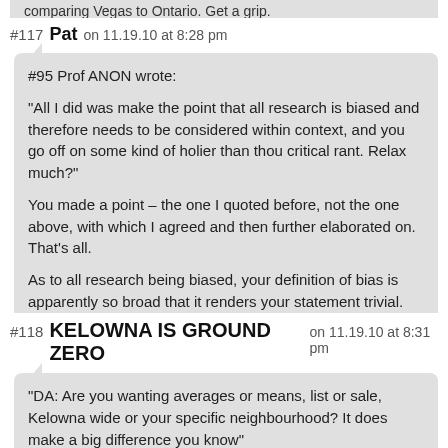comparing Vegas to Ontario. Get a grip.
#117 Pat on 11.19.10 at 8:28 pm
#95 Prof ANON wrote:

“All I did was make the point that all research is biased and therefore needs to be considered within context, and you go off on some kind of holier than thou critical rant. Relax much?”

You made a point – the one I quoted before, not the one above, with which I agreed and then further elaborated on. That’s all.

As to all research being biased, your definition of bias is apparently so broad that it renders your statement trivial.
#118 KELOWNA IS GROUND ZERO on 11.19.10 at 8:31 pm
“DA: Are you wanting averages or means, list or sale, Kelowna wide or your specific neighbourhood? It does make a big difference you know”